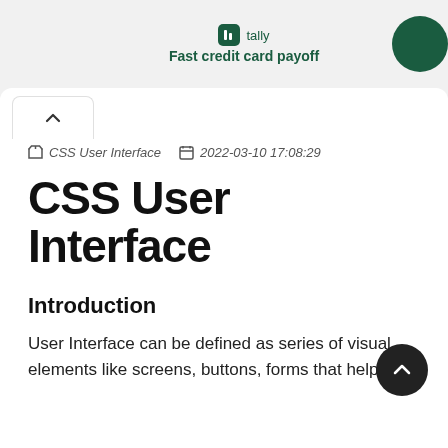tally — Fast credit card payoff
CSS User Interface   2022-03-10 17:08:29
CSS User Interface
Introduction
User Interface can be defined as series of visual elements like screens, buttons, forms that help